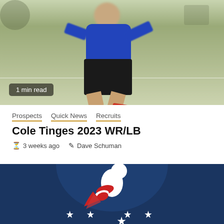[Figure (photo): Athlete in blue shirt and black shorts running on a grass field, with a '1 min read' badge overlaid at the bottom-left of the photo]
Prospects  Quick News  Recruits
Cole Tinges 2023 WR/LB
3 weeks ago   Dave Schuman
[Figure (logo): National Underclassmen Combine logo: white football player figure with red accents on a dark navy circle with stars at the bottom]